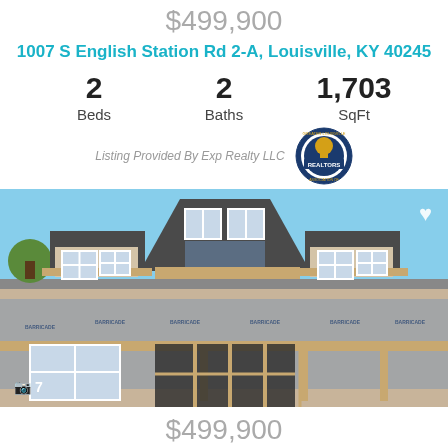$499,900
1007 S English Station Rd 2-A, Louisville, KY 40245
2 Beds  2 Baths  1,703 SqFt
Listing Provided By Exp Realty LLC
[Figure (photo): Under-construction house exterior showing dormers, gray roof, wood framing, and blue house wrap. Photo count badge shows camera icon and 7.]
$499,900
1007 S English Station Rd 1-A, Louisville, KY 40245